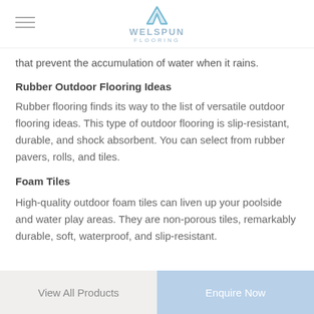WELSPUN FLOORING
that prevent the accumulation of water when it rains.
Rubber Outdoor Flooring Ideas
Rubber flooring finds its way to the list of versatile outdoor flooring ideas. This type of outdoor flooring is slip-resistant, durable, and shock absorbent. You can select from rubber pavers, rolls, and tiles.
Foam Tiles
High-quality outdoor foam tiles can liven up your poolside and water play areas. They are non-porous tiles, remarkably durable, soft, waterproof, and slip-resistant.
View All Products | Enquire Now